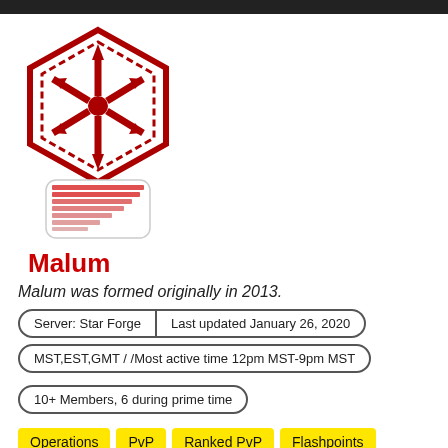[Figure (logo): Malum guild logo: red Sith Empire hexagonal emblem with arrows on top, and a red striped bar chart/badge below it in a rounded rectangle]
Malum
Malum was formed originally in 2013.
Server: Star Forge | Last updated January 26, 2020
MST,EST,GMT / /Most active time 12pm MST-9pm MST
10+ Members, 6 during prime time
Operations
PvP
Ranked PvP
Flashpoints
Conquest
Roleplay
Social/hanging out
Leveling